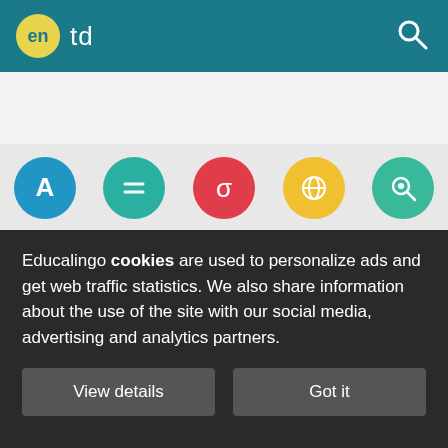en td
[Figure (infographic): Navigation bar with five circular icons: Dictionary (blue, letter A), Synonyms (teal, equals sign), Translator (red, sigma), Trends (yellow, globe), Examples (green, magnifier)]
5 TD Bank robbed, thief at large
West Whiteland >> A white male robbed the TD Bank branch on 180 E. Lincoln Highway in Exton on late Tuesday
Educalingo cookies are used to personalize ads and get web traffic statistics. We also share information about the use of the site with our social media, advertising and analytics partners.
View details   Got it